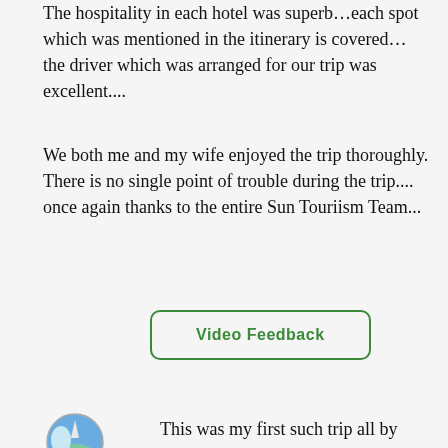The hospitality in each hotel was superb…each spot which was mentioned in the itinerary is covered…the driver which was arranged for our trip was excellent....
We both me and my wife enjoyed the trip thoroughly. There is no single point of trouble during the trip....
once again thanks to the entire Sun Touriism Team...
Video Feedback
[Figure (illustration): Circular thumbnail image of a travel scene, partially visible at bottom left]
This was my first such trip all by